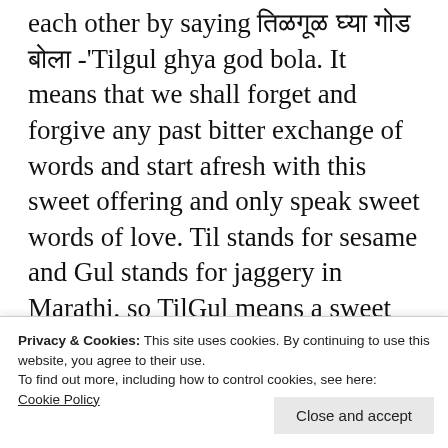each other by saying तिळगूळ घ्या गोड बोला -'Tilgul ghya god bola. It means that we shall forget and forgive any past bitter exchange of words and start afresh with this sweet offering and only speak sweet words of love. Til stands for sesame and Gul stands for jaggery in Marathi, so TilGul means a sweet made using sesame and jaggerery as the main ingredients
The recipe is modified in various regions of
Privacy & Cookies: This site uses cookies. By continuing to use this website, you agree to their use. To find out more, including how to control cookies, see here: Cookie Policy